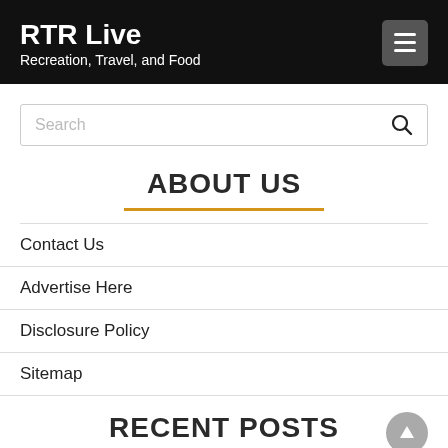RTR Live
Recreation, Travel, and Food
Search
ABOUT US
Contact Us
Advertise Here
Disclosure Policy
Sitemap
RECENT POSTS